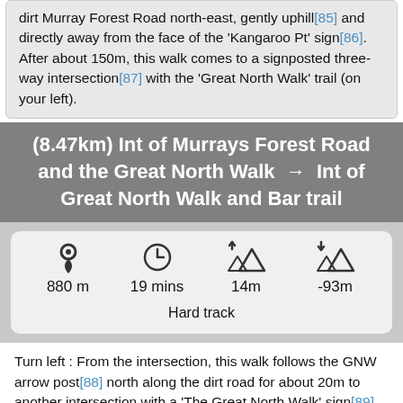dirt Murray Forest Road north-east, gently uphill[85] and directly away from the face of the 'Kangaroo Pt' sign[86]. After about 150m, this walk comes to a signposted three-way intersection[87] with the 'Great North Walk' trail (on your left).
(8.47km) Int of Murrays Forest Road and the Great North Walk → Int of Great North Walk and Bar trail
[Figure (infographic): Info card showing: 880 m distance, 19 mins time, 14m elevation gain, -93m elevation loss, Hard track difficulty]
Turn left : From the intersection, this walk follows the GNW arrow post[88] north along the dirt road for about 20m to another intersection with a 'The Great North Walk' sign[89].